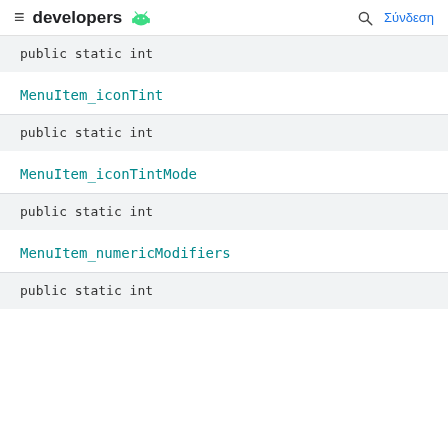developers | Σύνδεση
public static int
MenuItem_iconTint
public static int
MenuItem_iconTintMode
public static int
MenuItem_numericModifiers
public static int